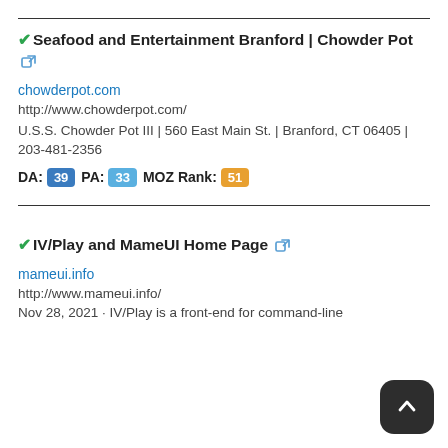✓ Seafood and Entertainment Branford | Chowder Pot [external link]
chowderpot.com
http://www.chowderpot.com/
U.S.S. Chowder Pot III | 560 East Main St. | Branford, CT 06405 | 203-481-2356
DA: 39  PA: 33  MOZ Rank: 51
✓ IV/Play and MameUI Home Page [external link]
mameui.info
http://www.mameui.info/
Nov 28, 2021 · IV/Play is a front-end for command-line